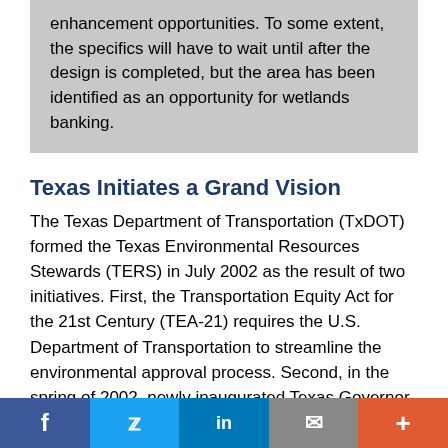enhancement opportunities. To some extent, the specifics will have to wait until after the design is completed, but the area has been identified as an opportunity for wetlands banking.
Texas Initiates a Grand Vision
The Texas Department of Transportation (TxDOT) formed the Texas Environmental Resources Stewards (TERS) in July 2002 as the result of two initiatives. First, the Transportation Equity Act for the 21st Century (TEA-21) requires the U.S. Department of Transportation to streamline the environmental approval process. Second, in the spring of 2002, newly inaugurated Texas Governor Rick Perry called for creation of a transportation system to rival the scope of the interstate highway network. Governor Perry's vision is to have 6,440 kilometers (4,000 miles) of transportation corridors within Texas incorporate separate
f  Twitter  in  mail  +